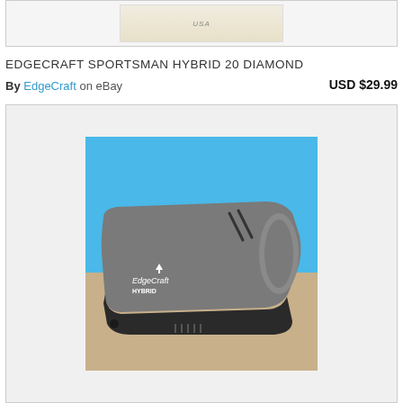[Figure (photo): Top portion of a product image showing white packaging with 'USA' text on a light background]
EDGECRAFT SPORTSMAN HYBRID 20 DIAMOND
By EdgeCraft on eBay    USD $29.99
[Figure (photo): Photo of EdgeCraft Hybrid knife sharpener, a gray and black electric sharpener on a tan surface with blue background]